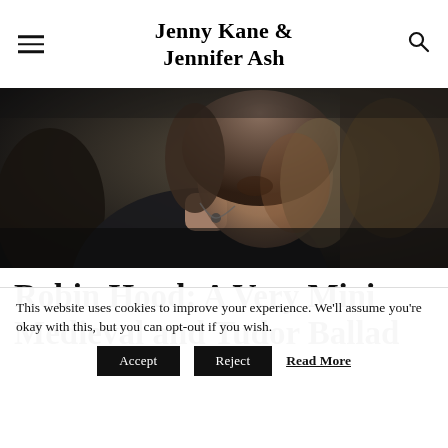Jenny Kane & Jennifer Ash
[Figure (photo): Woman with brown hair leaning forward, wearing a dark top and necklace, photographed in low-key lighting]
Robin Hood: A Very Mini Medieval and Tudor Ballad
This website uses cookies to improve your experience. We'll assume you're okay with this, but you can opt-out if you wish.
Accept   Reject   Read More